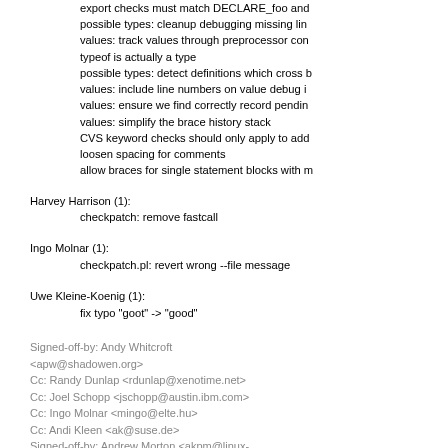export checks must match DECLARE_foo and
possible types: cleanup debugging missing lin
values: track values through preprocessor con
typeof is actually a type
possible types: detect definitions which cross b
values: include line numbers on value debug i
values: ensure we find correctly record pendin
values: simplify the brace history stack
CVS keyword checks should only apply to add
loosen spacing for comments
allow braces for single statement blocks with m
Harvey Harrison (1):
      checkpatch: remove fastcall
Ingo Molnar (1):
      checkpatch.pl: revert wrong --file message
Uwe Kleine-Koenig (1):
      fix typo "goot" -> "good"
Signed-off-by: Andy Whitcroft <apw@shadowen.org>
Cc: Randy Dunlap <rdunlap@xenotime.net>
Cc: Joel Schopp <jschopp@austin.ibm.com>
Cc: Ingo Molnar <mingo@elte.hu>
Cc: Andi Kleen <ak@suse.de>
Signed-off-by: Andrew Morton <akpm@linux-foundation.org>
Signed-off-by: Linus Torvalds